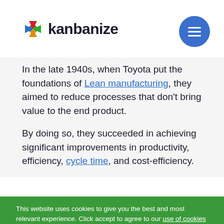kanbanize
In the late 1940s, when Toyota put the foundations of Lean manufacturing, they aimed to reduce processes that don't bring value to the end product.
By doing so, they succeeded in achieving significant improvements in productivity, efficiency, cycle time, and cost-efficiency.
This website uses cookies to give you the best and most relevant experience. Click accept to agree to our use of cookies and Terms Of Use or customize your preferences.
My settings
Accept